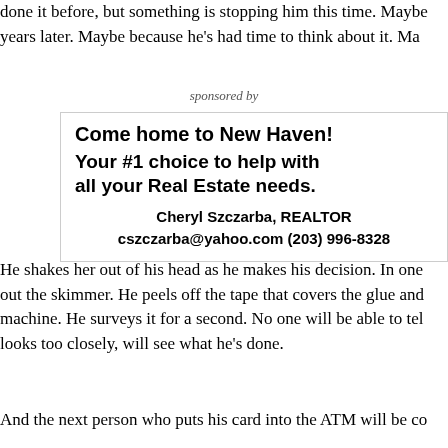done it before, but something is stopping him this time. Maybe years later. Maybe because he's had time to think about it. Ma
sponsored by
[Figure (other): Advertisement for real estate agent. Text reads: Come home to New Haven! Your #1 choice to help with all your Real Estate needs. Cheryl Szczarba, REALTOR cszczarba@yahoo.com (203) 996-8328]
He shakes her out of his head as he makes his decision. In one out the skimmer. He peels off the tape that covers the glue and machine. He surveys it for a second. No one will be able to tel looks too closely, will see what he's done.
And the next person who puts his card into the ATM will be co